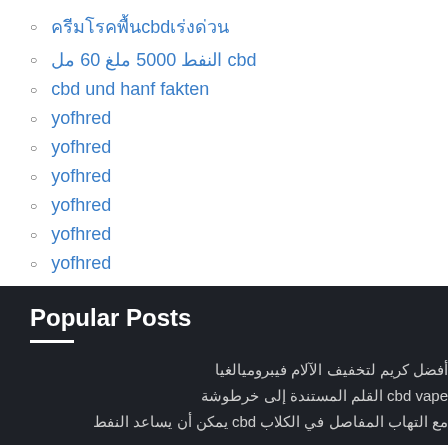cbd (Thai characters)
النفط 5000 ملغ 60 مل cbd
cbd und hanf fakten
yofhred
yofhred
yofhred
yofhred
yofhred
yofhred
Popular Posts
أفضل كريم لتخفيف الآلام فيبروميالغيا
cbd vape القلم المستندة إلى خرطوشة
مع التهاب المفاصل في الكلاب cbd يمكن أن يساعد النفط